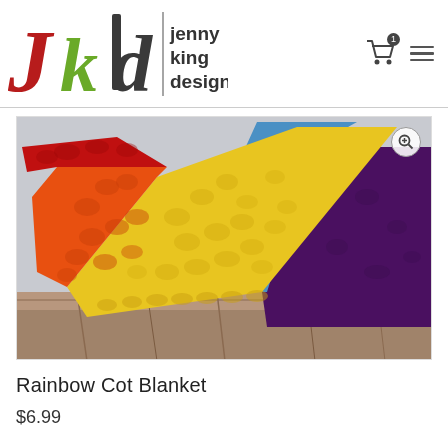jenny king designs
[Figure (photo): A rainbow-colored crochet/knit blanket displayed on a wooden shelf. Colors include red, orange, yellow, gold, blue, and dark purple arranged in diagonal stripes.]
Rainbow Cot Blanket
$6.99